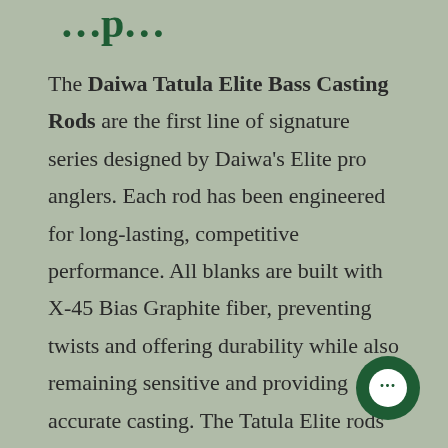…p…
The Daiwa Tatula Elite Bass Casting Rods are the first line of signature series designed by Daiwa's Elite pro anglers. Each rod has been engineered for long-lasting, competitive performance. All blanks are built with X-45 Bias Graphite fiber, preventing twists and offering durability while also remaining sensitive and providing accurate casting. The Tatula Elite rods are constructed from SVF Nanoplus Super Volume Fiber blanks that provide less weight and